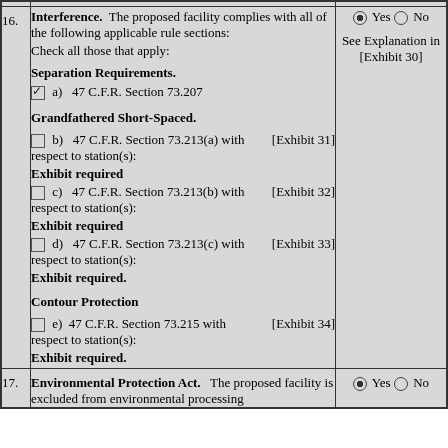| # | Content | Response |
| --- | --- | --- |
| 16. | Interference. The proposed facility complies with all of the following applicable rule sections:
Check all those that apply:
Separation Requirements.
[✓] a) 47 C.F.R. Section 73.207
Grandfathered Short-Spaced.
[ ] b) 47 C.F.R. Section 73.213(a) with respect to station(s): Exhibit required [Exhibit 31]
[ ] c) 47 C.F.R. Section 73.213(b) with respect to station(s): Exhibit required [Exhibit 32]
[ ] d) 47 C.F.R. Section 73.213(c) with respect to station(s): Exhibit required. [Exhibit 33]
Contour Protection
[ ] e) 47 C.F.R. Section 73.215 with respect to station(s): Exhibit required. [Exhibit 34] | ● Yes ○ No
See Explanation in [Exhibit 30] |
| 17. | Environmental Protection Act. The proposed facility is excluded from environmental processing | ● Yes ○ No |